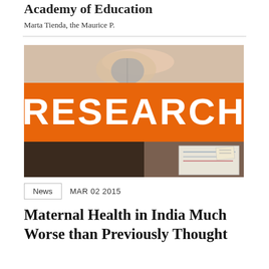Academy of Education
Marta Tienda, the Maurice P.
[Figure (photo): A research-themed banner image showing a hand on a computer mouse in the background, with a large orange banner reading 'RESEARCH' in bold white text overlaid in the center, and papers/documents visible in the lower right corner.]
News   MAR 02 2015
Maternal Health in India Much Worse than Previously Thought